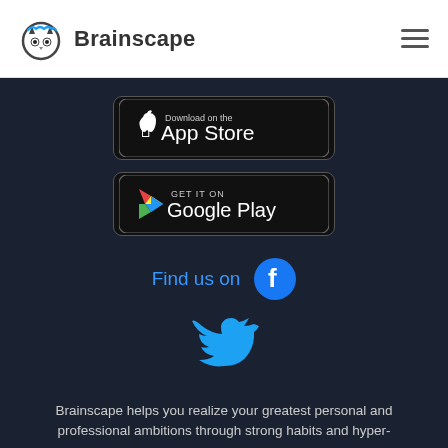Brainscape
[Figure (logo): Brainscape logo with owl icon and wordmark]
[Figure (illustration): Download on the App Store badge - black rounded rectangle with Apple logo and text 'Download on the App Store']
[Figure (illustration): Get it on Google Play badge - black rounded rectangle with Play Store triangle logo and text 'GET IT ON Google Play']
Find us on
[Figure (illustration): Facebook icon - blue circle with white 'f' logo]
[Figure (illustration): Twitter bird icon in blue]
Brainscape helps you realize your greatest personal and professional ambitions through strong habits and hyper-